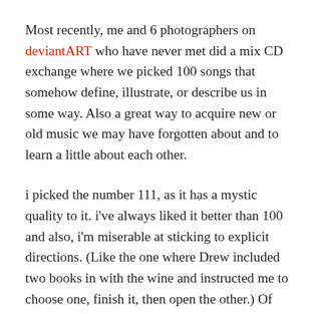Most recently, me and 6 photographers on deviantART who have never met did a mix CD exchange where we picked 100 songs that somehow define, illustrate, or describe us in some way. Also a great way to acquire new or old music we may have forgotten about and to learn a little about each other.
i picked the number 111, as it has a mystic quality to it. i've always liked it better than 100 and also, i'm miserable at sticking to explicit directions. (Like the one where Drew included two books in with the wine and instructed me to choose one, finish it, then open the other.) Of course, i just ripped right through the tissue paper into both of them like a cat into a grocery bag, turning the titles over in my hand, reading the descriptions and accolades on the jackets. As it is, i have 6 books piled on my nite stand with bookmarks at